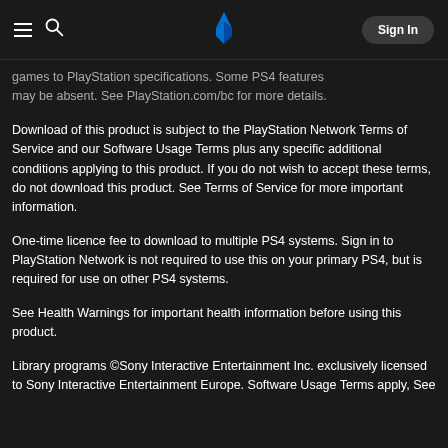PlayStation navigation bar with hamburger menu, search icon, PlayStation logo, and Sign In button
games to PlayStation specifications. Some PS4 features may be absent. See PlayStation.com/bc for more details.
Download of this product is subject to the PlayStation Network Terms of Service and our Software Usage Terms plus any specific additional conditions applying to this product. If you do not wish to accept these terms, do not download this product. See Terms of Service for more important information.
One-time licence fee to download to multiple PS4 systems. Sign in to PlayStation Network is not required to use this on your primary PS4, but is required for use on other PS4 systems.
See Health Warnings for important health information before using this product.
Library programs ©Sony Interactive Entertainment Inc. exclusively licensed to Sony Interactive Entertainment Europe. Software Usage Terms apply, See